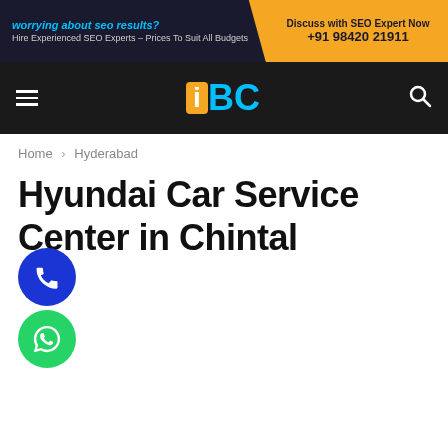[Figure (infographic): Orange and dark advertisement banner: 'worrying about seo results? Hire Experienced SEO Experts - Prices To Suit All Budgets | Discuss with SEO Expert Now +91 98420 21911']
[Figure (logo): iBC logo on dark navigation bar with hamburger menu and search icon]
Home › Hyderabad
Hyundai Car Service Center in Chintal
[Figure (illustration): Blue phone call floating button (circle) and green WhatsApp floating button (circle) at bottom left]